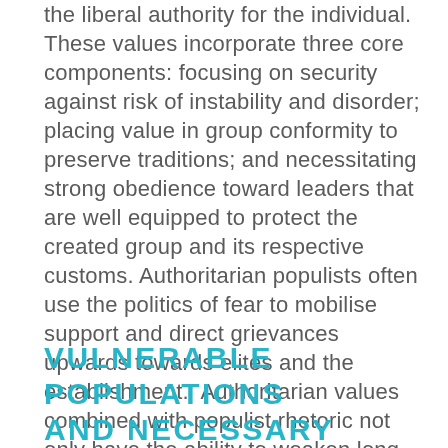the liberal authority for the individual. These values incorporate three core components: focusing on security against risk of instability and disorder; placing value in group conformity to preserve traditions; and necessitating strong obedience toward leaders that are well equipped to protect the created group and its respective customs. Authoritarian populists often use the politics of fear to mobilise support and direct grievances upwards towards elites and the establishment.  Authoritarian values combined with populist rhetoric not only have the ability to weaken long consolidated democratic norms but can be dangerous in their ability to fuel a cult of fear that corrodes faith in liberal democracy.
VULNERABLE POPULATIONS AND NECESSARY